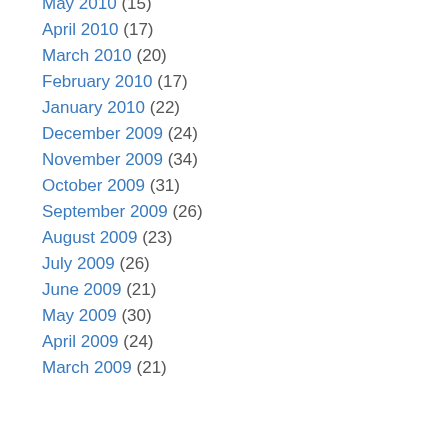May 2010 (15)
April 2010 (17)
March 2010 (20)
February 2010 (17)
January 2010 (22)
December 2009 (24)
November 2009 (34)
October 2009 (31)
September 2009 (26)
August 2009 (23)
July 2009 (26)
June 2009 (21)
May 2009 (30)
April 2009 (24)
March 2009 (21)